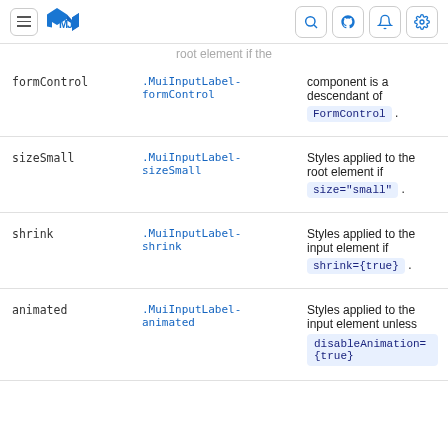MUI logo, navigation icons (search, github, notifications, settings)
root element if the
| Rule name | Global class | Description |
| --- | --- | --- |
| formControl | .MuiInputLabel-formControl | component is a descendant of FormControl . |
| sizeSmall | .MuiInputLabel-sizeSmall | Styles applied to the root element if size="small" . |
| shrink | .MuiInputLabel-shrink | Styles applied to the input element if shrink={true} . |
| animated | .MuiInputLabel-animated | Styles applied to the input element unless disableAnimation={true} |